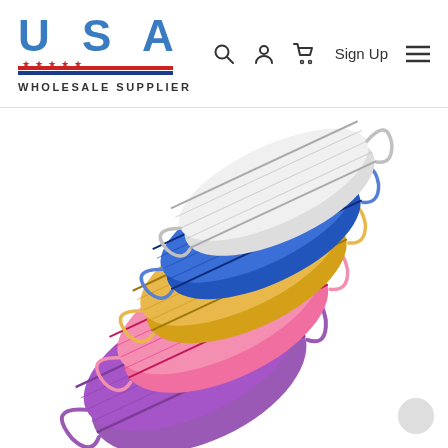USA Wholesale Supplier — website header with search, account, cart icons, Sign Up, and menu
[Figure (photo): Stack of colorful disposable face masks fanned out diagonally: white, blue, navy, gold/yellow, pink, and purple masks with ear loops, on white background]